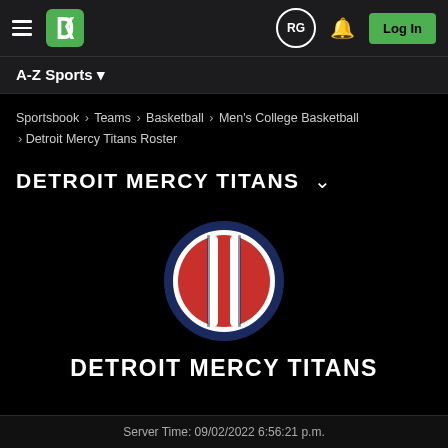DraftKings navigation bar with hamburger menu, DK logo, RG circle, bell icon, Log In button
A-Z Sports
Sportsbook › Teams › Basketball › Men's College Basketball › Detroit Mercy Titans Roster
DETROIT MERCY TITANS
[Figure (logo): Detroit Mercy Titans circular team logo — navy blue outer ring, red/white vertical striped center on red background]
DETROIT MERCY TITANS
Server Time: 09/02/2022 6:56:21 p.m.